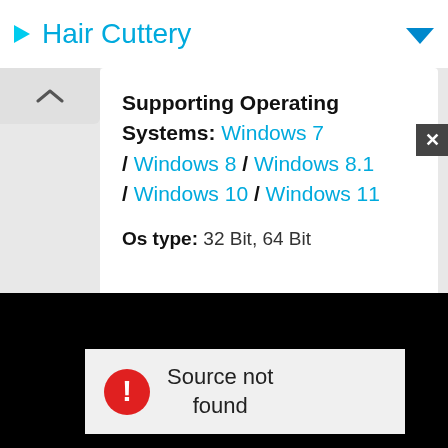Hair Cuttery
Supporting Operating Systems: Windows 7 / Windows 8 / Windows 8.1 / Windows 10 / Windows 11
Os type: 32 Bit, 64 Bit
[Figure (screenshot): Video player area showing black background with 'Source not found' error message and a red error icon, plus a gray play/forward arrow button]
Source not found